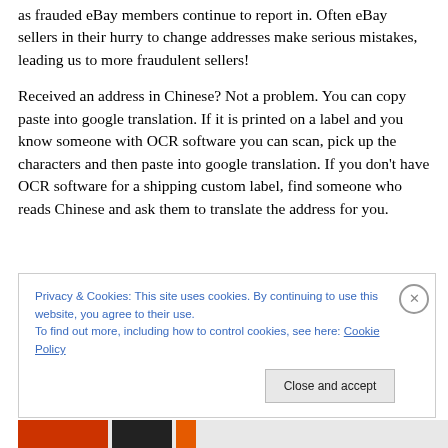as frauded eBay members continue to report in. Often eBay sellers in their hurry to change addresses make serious mistakes, leading us to more fraudulent sellers!
Received an address in Chinese? Not a problem. You can copy paste into google translation. If it is printed on a label and you know someone with OCR software you can scan, pick up the characters and then paste into google translation. If you don't have OCR software for a shipping custom label, find someone who reads Chinese and ask them to translate the address for you.
Privacy & Cookies: This site uses cookies. By continuing to use this website, you agree to their use.
To find out more, including how to control cookies, see here: Cookie Policy
Close and accept